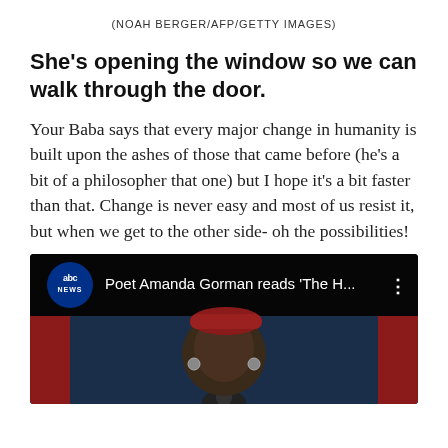(NOAH BERGER/AFP/GETTY IMAGES)
She's opening the window so we can walk through the door.
Your Baba says that every major change in humanity is built upon the ashes of those that came before (he's a bit of a philosopher that one) but I hope it's a bit faster than that. Change is never easy and most of us resist it, but when we get to the other side- oh the possibilities!
[Figure (screenshot): ABC News YouTube video thumbnail showing 'Poet Amanda Gorman reads The H...' with ABC News logo and a person visible below]